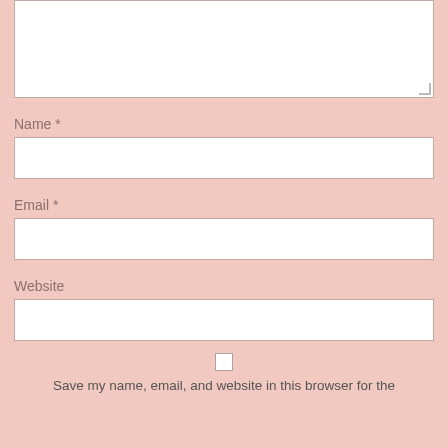[Figure (screenshot): Textarea input box at the top of the page, partially visible, with a resize handle at bottom-right corner]
Name *
[Figure (screenshot): Name text input field, white rectangle with border]
Email *
[Figure (screenshot): Email text input field, white rectangle with border]
Website
[Figure (screenshot): Website text input field, white rectangle with border]
[Figure (screenshot): Checkbox (unchecked) centered on the page]
Save my name, email, and website in this browser for the